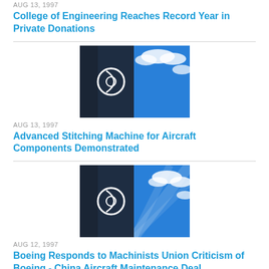AUG 13, 1997
College of Engineering Reaches Record Year in Private Donations
[Figure (photo): Boeing logo on a dark building facade against a bright blue sky with clouds]
AUG 13, 1997
Advanced Stitching Machine for Aircraft Components Demonstrated
[Figure (photo): Boeing logo on a dark building facade against a bright blue sky with clouds]
AUG 12, 1997
Boeing Responds to Machinists Union Criticism of Boeing - China Aircraft Maintenance Deal